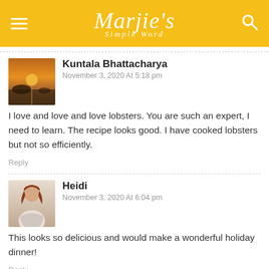Marjie's Simple Word
Kuntala Bhattacharya
November 3, 2020 At 5:18 pm
I love and love and love lobsters. You are such an expert, I need to learn. The recipe looks good. I have cooked lobsters but not so efficiently.
Reply
Heidi
November 3, 2020 At 6:04 pm
This looks so delicious and would make a wonderful holiday dinner!
Reply
Blair Villanueva